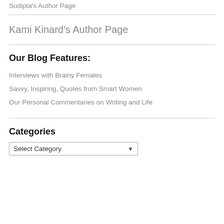Sudipta's Author Page
Kami Kinard's Author Page
Our Blog Features:
Interviews with Brainy Females
Savvy, Inspiring, Quotes from Smart Women
Our Personal Commentaries on Writing and Life
Categories
Select Category